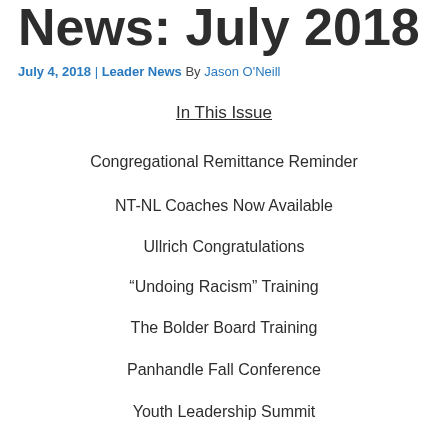News: July 2018
July 4, 2018 | Leader News By Jason O'Neill
In This Issue
Congregational Remittance Reminder
NT-NL Coaches Now Available
Ullrich Congratulations
“Undoing Racism” Training
The Bolder Board Training
Panhandle Fall Conference
Youth Leadership Summit